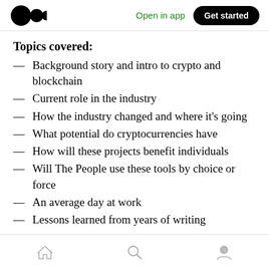Open in app | Get started
Topics covered:
— Background story and intro to crypto and blockchain
— Current role in the industry
— How the industry changed and where it's going
— What potential do cryptocurrencies have
— How will these projects benefit individuals
— Will The People use these tools by choice or force
— An average day at work
— Lessons learned from years of writing
Home | Search | Profile